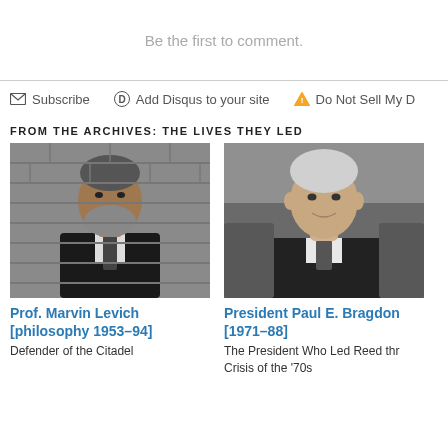Be the first to comment.
Subscribe   Add Disqus to your site   Do Not Sell My D
FROM THE ARCHIVES: THE LIVES THEY LED
[Figure (photo): Black and white photo of Prof. Marvin Levich, a bearded man in a dark suit and tie standing in front of a brick wall]
Prof. Marvin Levich [philosophy 1953–94]
Defender of the Citadel
[Figure (photo): Black and white photo of President Paul E. Bragdon, a man with silver hair in a suit]
President Paul E. Bragdon [1971–88]
The President Who Led Reed through the Crisis of the '70s